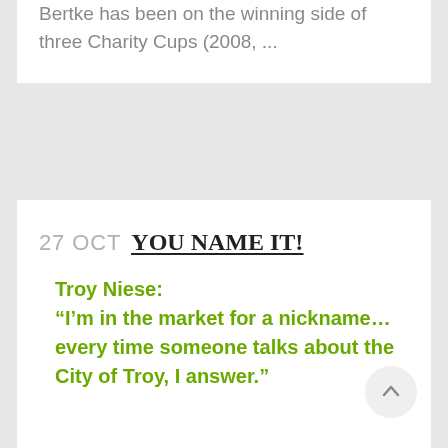Bertke has been on the winning side of three Charity Cups (2008, ...
27 OCT YOU NAME IT!
Troy Niese: “I’m in the market for a nickname… every time someone talks about the City of Troy, I answer.”